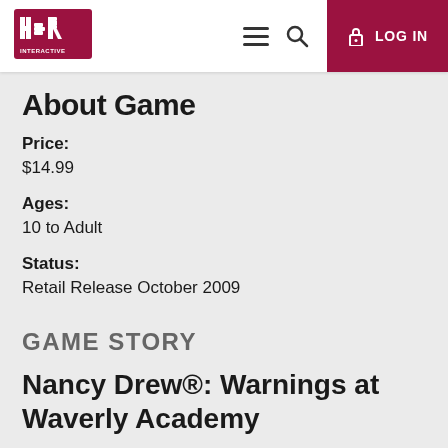HeR Interactive — LOG IN
About Game
Price:
$14.99
Ages:
10 to Adult
Status:
Retail Release October 2009
GAME STORY
Nancy Drew®: Warnings at Waverly Academy